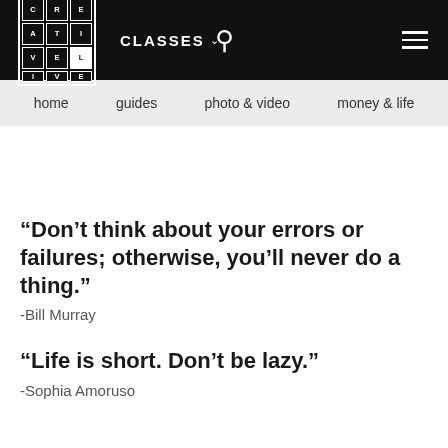CreativeLive — CLASSES | home | guides | photo & video | money & life
“Don’t think about your errors or failures; otherwise, you’ll never do a thing.”
-Bill Murray
“Life is short. Don’t be lazy.”
-Sophia Amoruso